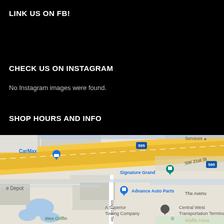LINK US ON FB!
CHECK US ON INSTAGRAM
No Instagram images were found.
SHOP HOURS AND INFO
[Figure (map): Google Maps screenshot showing CarMax, Signature Grand, Advance Auto Parts, A Superior Towing Company, Central West Transportation Terminal, Wes Griffin, The Avenue, Waffle House, along highway I-595 with SW 21st St and SW 71st Ter visible.]